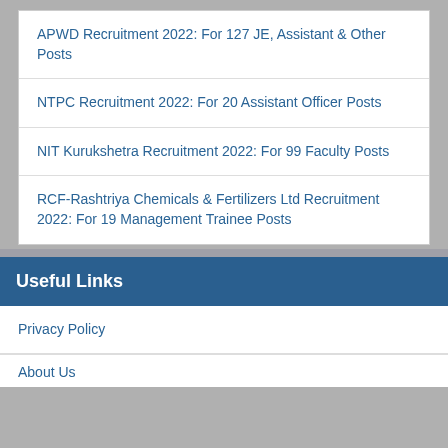APWD Recruitment 2022: For 127 JE, Assistant & Other Posts
NTPC Recruitment 2022: For 20 Assistant Officer Posts
NIT Kurukshetra Recruitment 2022: For 99 Faculty Posts
RCF-Rashtriya Chemicals & Fertilizers Ltd Recruitment 2022: For 19 Management Trainee Posts
Useful Links
Privacy Policy